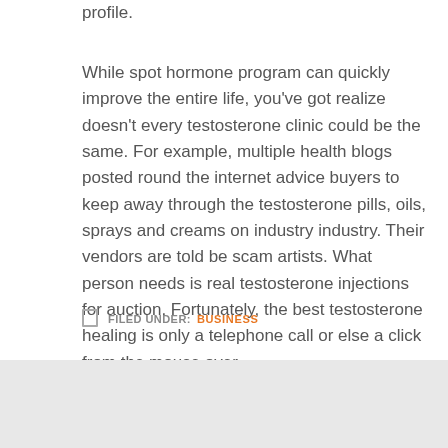profile.
While spot hormone program can quickly improve the entire life, you've got realize doesn't every testosterone clinic could be the same. For example, multiple health blogs posted round the internet advice buyers to keep away through the testosterone pills, oils, sprays and creams on industry industry. Their vendors are told be scam artists. What person needs is real testosterone injections for auction. Fortunately, the best testosterone healing is only a telephone call or else a click from the mouse over.
FILED UNDER: BUSINESS